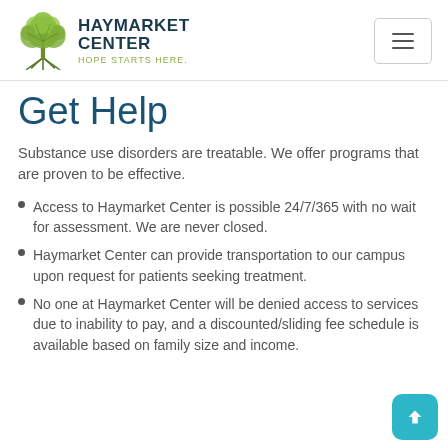Haymarket Center — HOPE STARTS HERE.
Get Help
Substance use disorders are treatable. We offer programs that are proven to be effective.
Access to Haymarket Center is possible 24/7/365 with no wait for assessment. We are never closed.
Haymarket Center can provide transportation to our campus upon request for patients seeking treatment.
No one at Haymarket Center will be denied access to services due to inability to pay, and a discounted/sliding fee schedule is available based on family size and income.